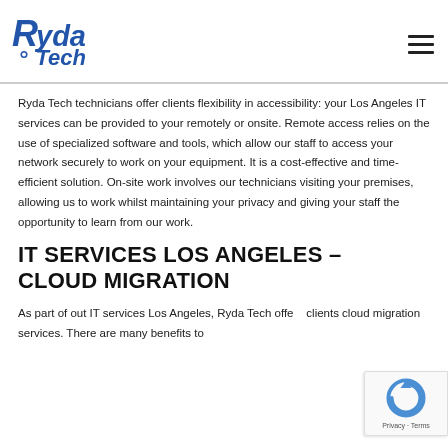[Figure (logo): Ryda Tech logo with blue stylized text and hamburger menu icon]
Ryda Tech technicians offer clients flexibility in accessibility: your Los Angeles IT services can be provided to your remotely or onsite. Remote access relies on the use of specialized software and tools, which allow our staff to access your network securely to work on your equipment. It is a cost-effective and time-efficient solution. On-site work involves our technicians visiting your premises, allowing us to work whilst maintaining your privacy and giving your staff the opportunity to learn from our work.
IT SERVICES LOS ANGELES – CLOUD MIGRATION
As part of out IT services Los Angeles, Ryda Tech offe clients cloud migration services. There are many benefits to